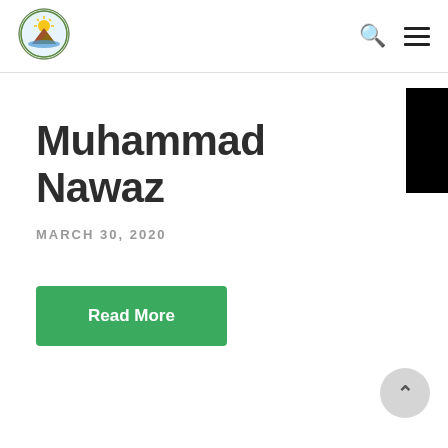Navigation bar with logo, search icon, and hamburger menu
[Figure (logo): Circular government/municipal emblem with sun, mountain, and water imagery]
Muhammad Nawaz
MARCH 30, 2020
Read More